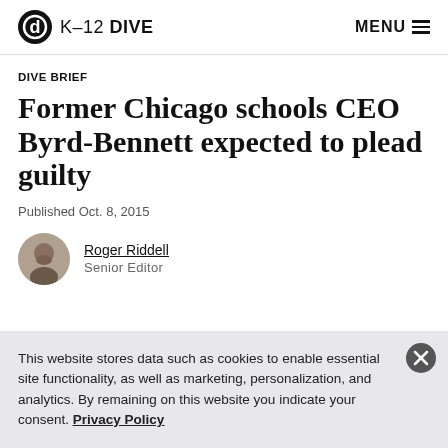K-12 DIVE  MENU
DIVE BRIEF
Former Chicago schools CEO Byrd-Bennett expected to plead guilty
Published Oct. 8, 2015
Roger Riddell
Senior Editor
This website stores data such as cookies to enable essential site functionality, as well as marketing, personalization, and analytics. By remaining on this website you indicate your consent. Privacy Policy